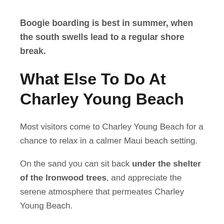Boogie boarding is best in summer, when the south swells lead to a regular shore break.
What Else To Do At Charley Young Beach
Most visitors come to Charley Young Beach for a chance to relax in a calmer Maui beach setting.
On the sand you can sit back under the shelter of the Ironwood trees, and appreciate the serene atmosphere that permeates Charley Young Beach.
You'll often spot people reading away from the crowds, or simply soaking up an exceptional view